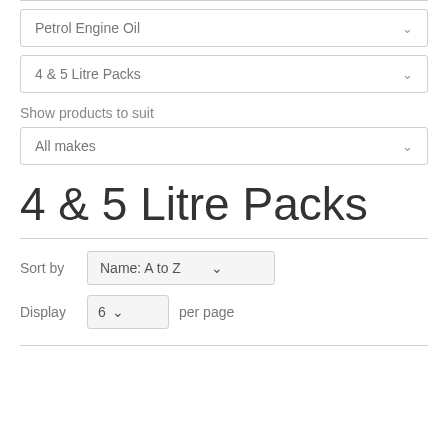Petrol Engine Oil
4 & 5 Litre Packs
Show products to suit
All makes
4 & 5 Litre Packs
Sort by  Name: A to Z
Display  6  per page